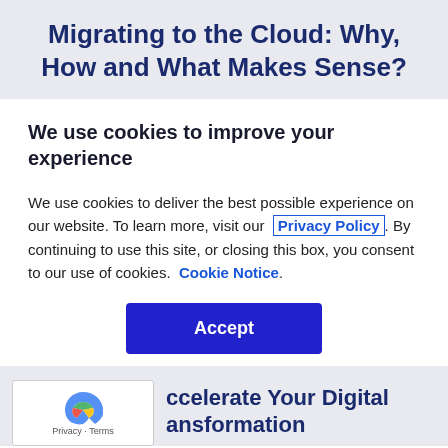Migrating to the Cloud: Why, How and What Makes Sense?
We use cookies to improve your experience
We use cookies to deliver the best possible experience on our website. To learn more, visit our Privacy Policy. By continuing to use this site, or closing this box, you consent to our use of cookies. Cookie Notice.
Accept
ccelerate Your Digital ansformation